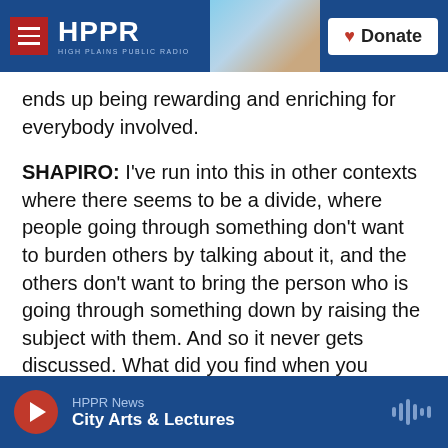HPPR — HIGH PLAINS PUBLIC RADIO | Donate
ends up being rewarding and enriching for everybody involved.
SHAPIRO: I've run into this in other contexts where there seems to be a divide, where people going through something don't want to burden others by talking about it, and the others don't want to bring the person who is going through something down by raising the subject with them. And so it never gets discussed. What did you find when you started actually discussing it?
BRUNI: I discovered that this kind of politeness we
HPPR News | City Arts & Lectures